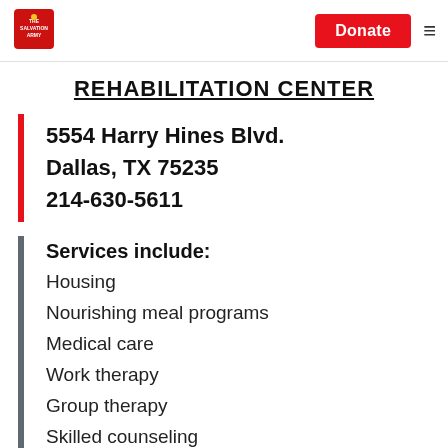[Figure (logo): The Salvation Army shield logo in red and yellow]
Donate
REHABILITATION CENTER
5554 Harry Hines Blvd.
Dallas, TX 75235
214-630-5611
Services include:
Housing
Nourishing meal programs
Medical care
Work therapy
Group therapy
Skilled counseling
Spiritual guidance